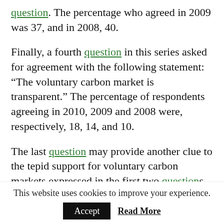question. The percentage who agreed in 2009 was 37, and in 2008, 40.
Finally, a fourth question in this series asked for agreement with the following statement: “The voluntary carbon market is transparent.” The percentage of respondents agreeing in 2010, 2009 and 2008 were, respectively, 18, 14, and 10.
The last question may provide another clue to the tepid support for voluntary carbon markets expressed in the first two questions reported on here. Without transparency, there can be only limited trust, and without trust, only the bravest
This website uses cookies to improve your experience.